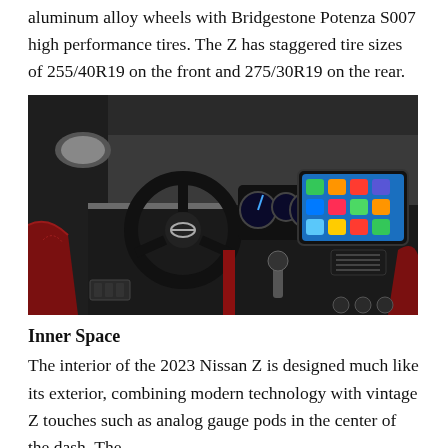aluminum alloy wheels with Bridgestone Potenza S007 high performance tires. The Z has staggered tire sizes of 255/40R19 on the front and 275/30R19 on the rear.
[Figure (photo): Interior of 2023 Nissan Z showing steering wheel, red and black seats, digital instrument cluster, center touchscreen with CarPlay, and manual gear shifter.]
Inner Space
The interior of the 2023 Nissan Z is designed much like its exterior, combining modern technology with vintage Z touches such as analog gauge pods in the center of the dash. The